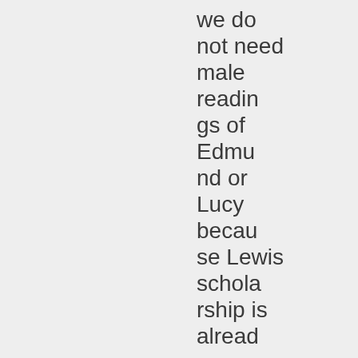we do not need male readings of Edmund or Lucy because Lewis scholarship is alread